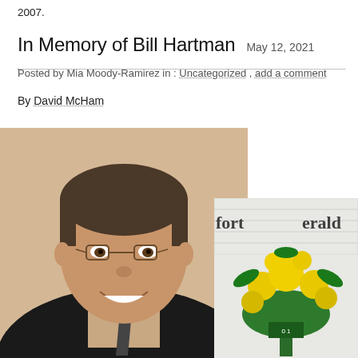2007.
In Memory of Bill Hartman   May 12, 2021
Posted by Mia Moody-Ramirez in : Uncategorized , add a comment
By David McHam
[Figure (photo): Portrait photo of Bill Hartman, a middle-aged man with glasses, short brown-grey hair, wearing a dark blazer and patterned tie, smiling at the camera.]
[Figure (photo): Photo of a floral arrangement with yellow roses on a stand in front of a brick wall, partially overlaid with text reading 'Fort' and 'Herald'.]